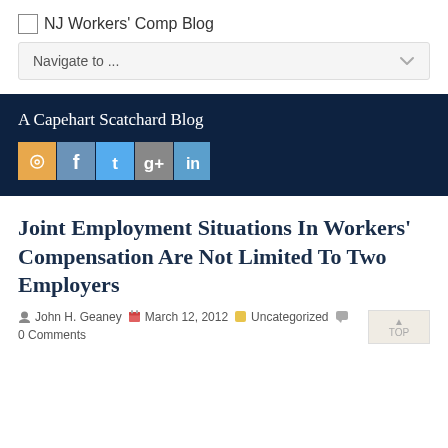NJ Workers' Comp Blog
Navigate to ...
A Capehart Scatchard Blog
Joint Employment Situations In Workers' Compensation Are Not Limited To Two Employers
John H. Geaney  March 12, 2012  Uncategorized  0 Comments